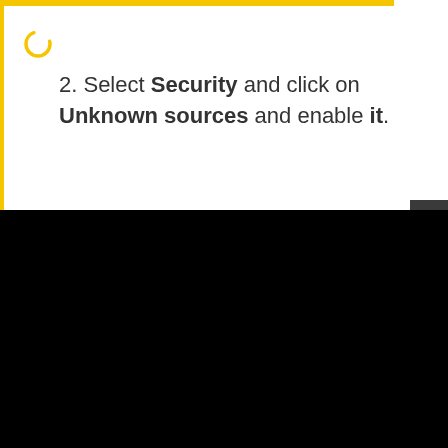2. Select Security and click on Unknown sources and enable it.
[Figure (screenshot): Black video player area showing 'Click To Unmute' text with mute icon, and an error bar reading 'Source not found' with a red warning icon. A dark close button with X is visible at the top right of the player.]